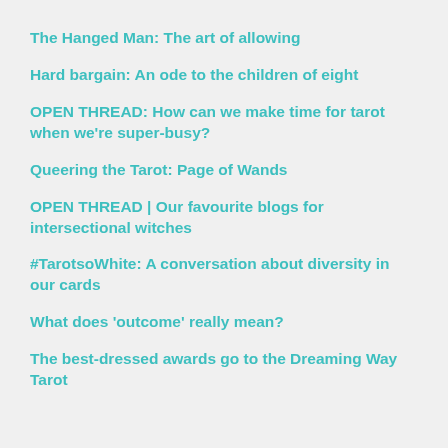The Hanged Man: The art of allowing
Hard bargain: An ode to the children of eight
OPEN THREAD: How can we make time for tarot when we're super-busy?
Queering the Tarot: Page of Wands
OPEN THREAD | Our favourite blogs for intersectional witches
#TarotsoWhite: A conversation about diversity in our cards
What does 'outcome' really mean?
The best-dressed awards go to the Dreaming Way Tarot